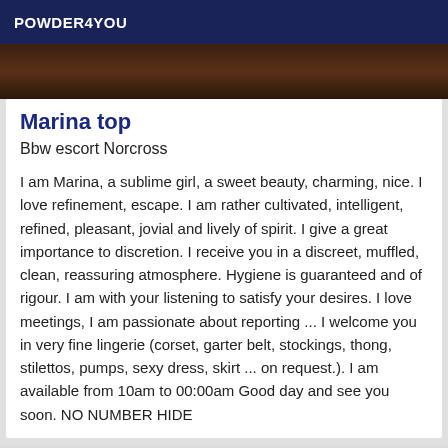POWDER4YOU
[Figure (photo): Partial photo image at top of card, dark tones with brown background]
Marina top
Bbw escort Norcross
I am Marina, a sublime girl, a sweet beauty, charming, nice. I love refinement, escape. I am rather cultivated, intelligent, refined, pleasant, jovial and lively of spirit. I give a great importance to discretion. I receive you in a discreet, muffled, clean, reassuring atmosphere. Hygiene is guaranteed and of rigour. I am with your listening to satisfy your desires. I love meetings, I am passionate about reporting ... I welcome you in very fine lingerie (corset, garter belt, stockings, thong, stilettos, pumps, sexy dress, skirt ... on request.). I am available from 10am to 00:00am Good day and see you soon. NO NUMBER HIDE
[Figure (photo): Partial photo image at bottom of page, dark tones]